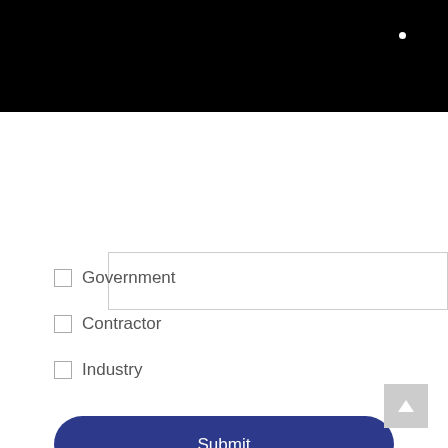[Figure (other): Black header bar with a white dot in the upper right]
I am here in what capacity: *
Government
Contractor
Industry
Submit